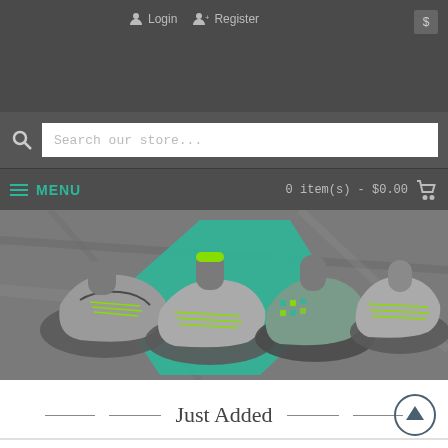Login  Register  $
Search our store...
MENU   0 item(s) - $0.00
[Figure (photo): Four Nike soccer cleats displayed on a teal and grey marble background]
Just Added